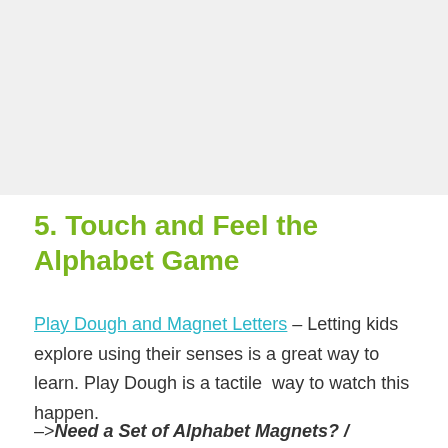[Figure (photo): Image placeholder at top of page, light gray background]
5. Touch and Feel the Alphabet Game
Play Dough and Magnet Letters – Letting kids explore using their senses is a great way to learn. Play Dough is a tactile  way to watch this happen.
–> Need a Set of Alphabet Magnets? /